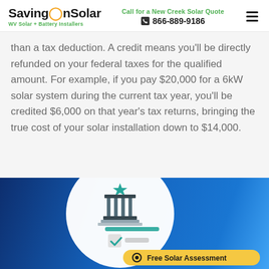SavingOnSolar — WV Solar + Battery Installers | Call for a New Creek Solar Quote 866-889-9186
than a tax deduction. A credit means you'll be directly refunded on your federal taxes for the qualified amount. For example, if you pay $20,000 for a 6kW solar system during the current tax year, you'll be credited $6,000 on that year's tax returns, bringing the true cost of your solar installation down to $14,000.
[Figure (illustration): Blue gradient background with a white circular diagram showing a building/government structure with a star on top, columns, and a checkbox. A yellow 'Free Solar Assessment' CTA button is in the bottom right.]